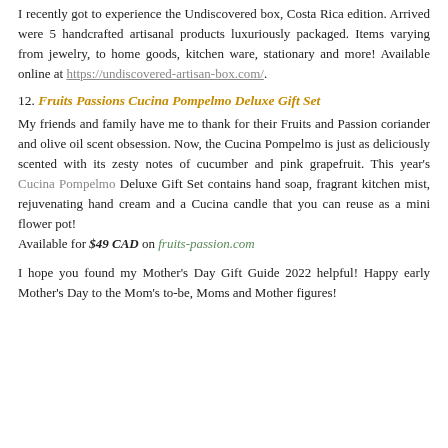I recently got to experience the Undiscovered box, Costa Rica edition. Arrived were 5 handcrafted artisanal products luxuriously packaged. Items varying from jewelry, to home goods, kitchen ware, stationary and more! Available online at https://undiscovered-artisan-box.com/.
12. Fruits Passions Cucina Pompelmo Deluxe Gift Set
My friends and family have me to thank for their Fruits and Passion coriander and olive oil scent obsession. Now, the Cucina Pompelmo is just as deliciously scented with its zesty notes of cucumber and pink grapefruit. This year's Cucina Pompelmo Deluxe Gift Set contains hand soap, fragrant kitchen mist, rejuvenating hand cream and a Cucina candle that you can reuse as a mini flower pot! Available for $49 CAD on fruits-passion.com
I hope you found my Mother's Day Gift Guide 2022 helpful! Happy early Mother's Day to the Mom's to-be, Moms and Mother figures!